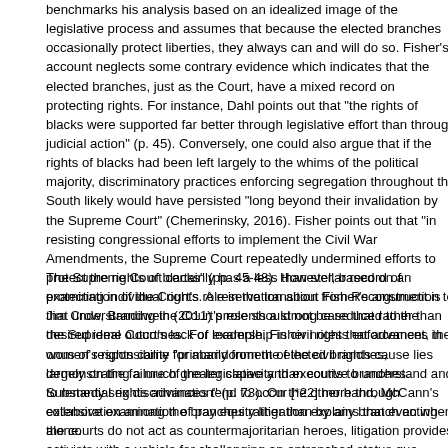benchmarks his analysis based on an idealized image of the legislative process and assumes that because the elected branches occasionally protect liberties, they always can and will do so. Fisher's account neglects some contrary evidence which indicates that the elected branches, just as the Court, have a mixed record on protecting rights. For instance, Dahl points out that "the rights of blacks were supported far better through legislative effort than through judicial action" (p. 45). Conversely, one could also argue that if the rights of blacks had been left largely to the whims of the political majority, discriminatory practices enforcing segregation throughout the South likely would have persisted "long beyond their invalidation by the Supreme Court" (Chemerinsky, 2016). Fisher points out that "in resisting congressional efforts to implement the Civil War Amendments, the Supreme Court repeatedly undermined efforts to protect the rights of blacks" (pp. 45-48). However, based on an examination of the Court's role in the transition from Reconstruction to Jim Crow, Brandwein (2011) presents a strong case that rather than the Supreme Court's lack of leadership in civil rights enforcement, the onus of responsibility for abandonment of the civil rights cause lies largely on the failure of the legislative and executive branches. Substantial rights advances tend to occur [*22] more through collaboration among the branches rather than by any branch acting alone.
The Supreme Court certainly has a less than stellar record of protecting individual rights. A reservation about Fisher's argument is that understanding the Court's role should not be reduced to the desired ideal outcomes. For example, Fisher notes that advances in women's rights came "primarily from the elected branches, demonstrating a much greater capacity than courts to understand and to remedy sex discrimination" (p. 73). On the other hand, McCann's extensive examination of pay equity litigation explains that even when the courts do not act as countermajoritarian heroes, litigation provides activists with a vehicle for challenging an entrenched status quo (McCann, 1994). For instance, court-transmitted signals of popular discontent may provide elected officials a valuable assessment of the harmony b